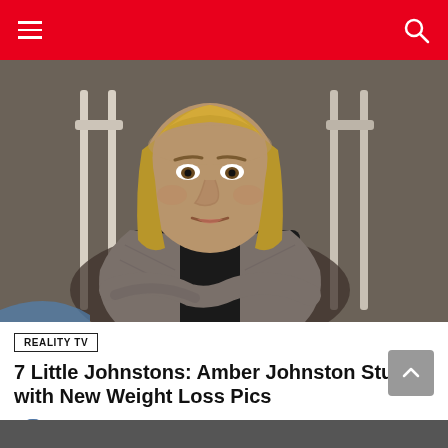[Figure (photo): A woman with shoulder-length blonde hair sitting in a white wooden chair, wearing a black shirt under a grey knit cardigan, arms crossed, expression serious. Background is a dark grey/taupe wall.]
REALITY TV
7 Little Johnstons: Amber Johnston Stuns with New Weight Loss Pics
by Meghan Mentell  a day ago